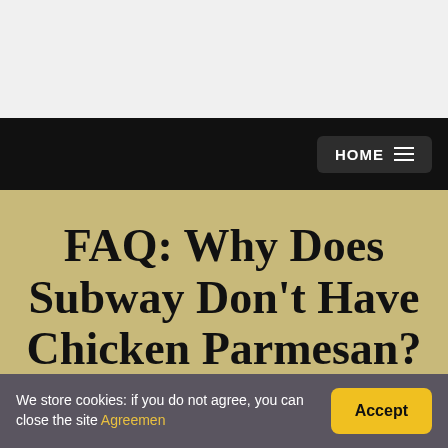HOME
FAQ: Why Does Subway Don't Have Chicken Parmesan?
By Jack Gloop in Parmesan  31.05.2021
We store cookies: if you do not agree, you can close the site Agreemen